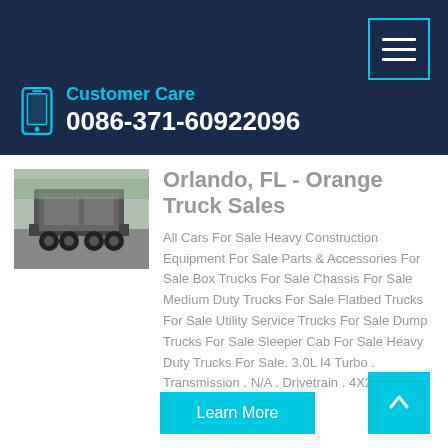Customer Care 0086-371-60922096
[Figure (photo): Rear view of a truck/semi trailer in a parking lot]
Orlando, FL - Orange Truck Sales
All Cars For Sale Heavy Construction Equipment For Sale Parts & Accessories For Sale Box Trucks For Sale Chassis For Sale Medium Duty Trucks For Sale Flatbed Trucks For Sale Utility Service Trucks For Sale Dump Trucks For Sale Sleeper Cab For Sale Heavy Duty Trucks For Sale. 3.0L I4 Turbo . Transmission . N/A . Drivetrain . 4X2 Fuel Economy
Learn More